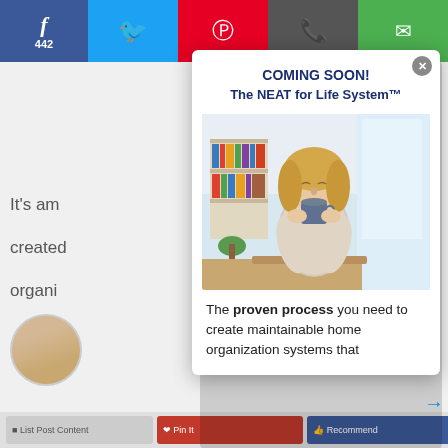[Figure (screenshot): Social share bar with Facebook (442 likes), Twitter, Pinterest, WhatsApp, and email buttons at the top of the page]
It's am
created
organi
[Figure (screenshot): Modal popup dialog showing 'COMING SOON! The NEAT for Life System™' with a photo of a woman relaxing holding a mug in a bright home setting, followed by text 'The proven process you need to create maintainable home organization systems that']
COMING SOON!
The NEAT for Life System™
[Figure (photo): Photo of a relaxed blonde woman sitting at a table holding a mug with eyes closed, in a bright modern home interior with bookshelves visible in background]
The proven process you need to create maintainable home organization systems that